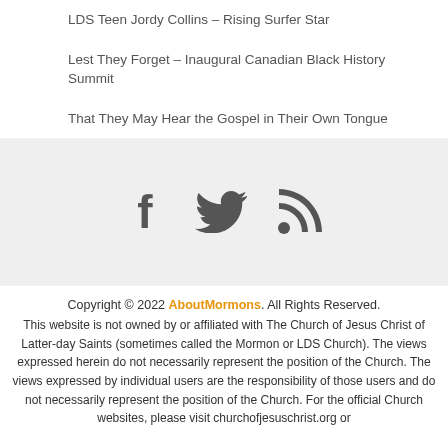LDS Teen Jordy Collins – Rising Surfer Star
Lest They Forget – Inaugural Canadian Black History Summit
That They May Hear the Gospel in Their Own Tongue
[Figure (other): Social media icons: Facebook, Twitter, RSS feed icons in grey on a light grey background]
Copyright © 2022 AboutMormons. All Rights Reserved. This website is not owned by or affiliated with The Church of Jesus Christ of Latter-day Saints (sometimes called the Mormon or LDS Church). The views expressed herein do not necessarily represent the position of the Church. The views expressed by individual users are the responsibility of those users and do not necessarily represent the position of the Church. For the official Church websites, please visit churchofjesuschrist.org or